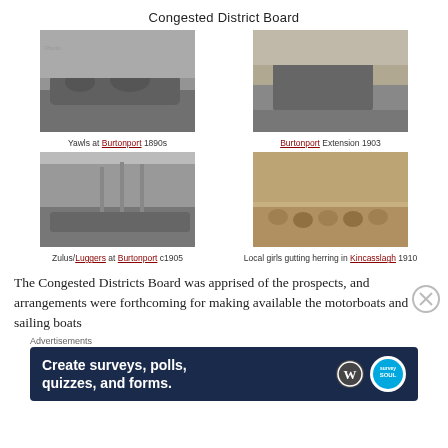Congested District Board
[Figure (photo): Black and white photograph of yawls/boats at Burtonport with people on board, 1890s]
Yawls at Burtonport 1890s
[Figure (photo): Black and white photograph of Burtonport Extension railway with steam locomotive, 1903]
Burtonport Extension 1903
[Figure (photo): Black and white photograph of Zulus/Luggers boats at Burtonport with barrels on quay, c1905]
Zulus/Luggers at Burtonport c1905
[Figure (photo): Sepia photograph of local girls gutting herring in Kincasslagh, 1910]
Local girls gutting herring in Kincasslagh 1910
The Congested Districts Board was apprised of the prospects, and arrangements were forthcoming for making available the motorboats and sailing boats
Advertisements
[Figure (screenshot): Advertisement banner: Create surveys, polls, quizzes, and forms. WordPress logo and Survey logo visible.]